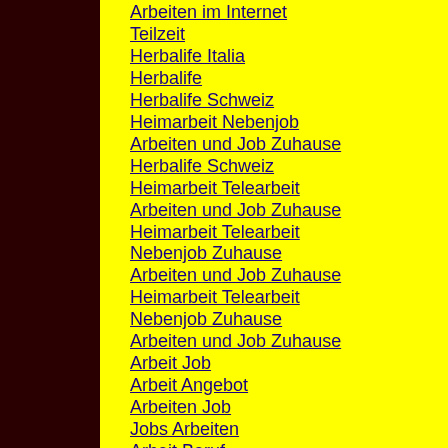Arbeiten im Internet
Teilzeit
Herbalife Italia
Herbalife
Herbalife Schweiz
Heimarbeit Nebenjob
Arbeiten und Job Zuhause
Herbalife Schweiz
Heimarbeit Telearbeit
Arbeiten und Job Zuhause
Heimarbeit Telearbeit
Nebenjob Zuhause
Arbeiten und Job Zuhause
Heimarbeit Telearbeit
Nebenjob Zuhause
Arbeiten und Job Zuhause
Arbeit Job
Arbeit Angebot
Arbeiten Job
Jobs Arbeiten
Arbeit Beruf
Arbeit zu Hause
Arbeiten zu Hause
Arbeit Zuhause Online
Nebenjob
Heimarbeit zu Hause
Arbeiten Arbeiten Zuhause